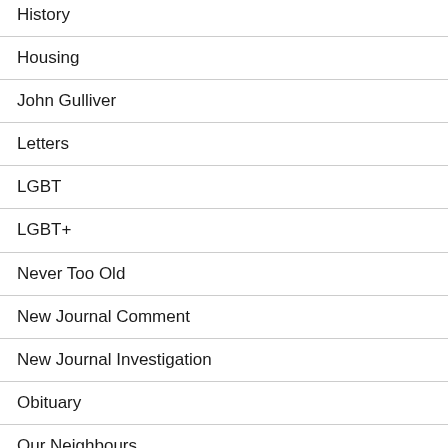History
Housing
John Gulliver
Letters
LGBT
LGBT+
Never Too Old
New Journal Comment
New Journal Investigation
Obituary
Our Neighbours
People